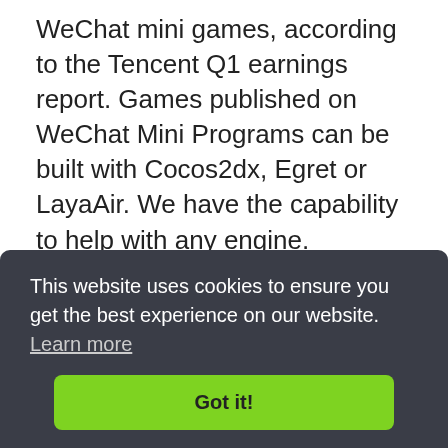WeChat mini games, according to the Tencent Q1 earnings report. Games published on WeChat Mini Programs can be built with Cocos2dx, Egret or LayaAir. We have the capability to help with any engine.
[Figure (screenshot): Three smartphone screenshots showing a Bitcoin Tap Tap game interface at different stages: an upgrade screen, a game play screen with Bitcoin coins, and a chat/sharing screen.]
This website uses cookies to ensure you get the best experience on our website.  Learn more
Got it!